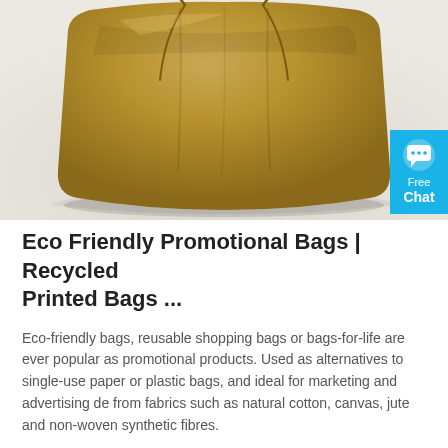[Figure (photo): A tan/brown drawstring bag photographed against a light gray-white background, shown from the front, lying flat with the drawstring visible at the top.]
Eco Friendly Promotional Bags | Recycled Printed Bags ...
Eco-friendly bags, reusable shopping bags or bags-for-life are ever popular as promotional products. Used as alternatives to single-use paper or plastic bags, and ideal for marketing and advertising de from fabrics such as natural cotton, canvas, jute and non-woven synthetic fibres.
Get Price